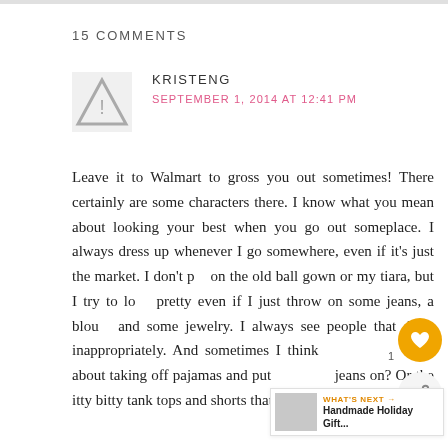15 COMMENTS
KRISTENG
SEPTEMBER 1, 2014 AT 12:41 PM
Leave it to Walmart to gross you out sometimes! There certainly are some characters there. I know what you mean about looking your best when you go out someplace. I always dress up whenever I go somewhere, even if it's just the market. I don't put on the old ball gown or my tiara, but I try to look pretty even if I just throw on some jeans, a blouse and some jewelry. I always see people that dress inappropriately. And sometimes I think how hard about taking off pajamas and putting some jeans on? Or the itty bitty tank tops and shorts that